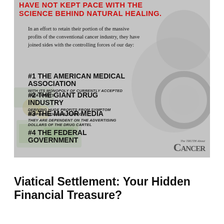[Figure (infographic): Infographic on a money/stethoscope background. Red headline at top reads 'HAVE NOT KEPT PACE WITH THE SCIENCE BEHIND NATURAL HEALING.' Body text: 'In an effort to retain their portion of the massive profits of the conventional cancer industry, they have joined sides with the controlling forces of our day:' Followed by four numbered items: #1 THE AMERICAN MEDICAL ASSOCIATION with its monopoly of currently accepted treatments; #2 THE GIANT DRUG INDUSTRY deriving huge profits from symptom suppression not curing; #3 THE MAJOR MEDIA they are dependent on the advertising dollars of the drug cartel; #4 THE FEDERAL GOVERNMENT. Logo bottom right: The Truth About Cancer.]
Viatical Settlement: Your Hidden Financial Treasure?